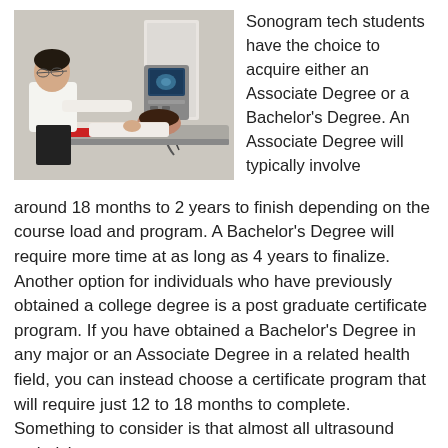[Figure (photo): A medical professional in a white coat performing an ultrasound examination on a patient lying on a table, with ultrasound equipment visible in the background.]
Sonogram tech students have the choice to acquire either an Associate Degree or a Bachelor's Degree. An Associate Degree will typically involve around 18 months to 2 years to finish depending on the course load and program. A Bachelor's Degree will require more time at as long as 4 years to finalize. Another option for individuals who have previously obtained a college degree is a post graduate certificate program. If you have obtained a Bachelor's Degree in any major or an Associate Degree in a related health field, you can instead choose a certificate program that will require just 12 to 18 months to complete. Something to consider is that almost all ultrasound technician